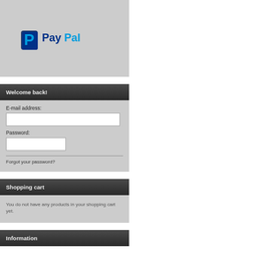[Figure (logo): PayPal logo on gray background]
Welcome back!
E-mail address:
Password:
Forgot your password?
Shopping cart
You do not have any products in your shopping cart yet.
Information